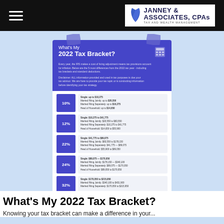Janney & Associates, CPAs — Tax and Wealth Management
[Figure (infographic): Infographic card titled 'What's My 2022 Tax Bracket?' on blue-purple background with tape effect, showing tax brackets 10%, 12%, 22%, 24%, 32% with filing status income ranges. Taped to a light blue background.]
What's My 2022 Tax Bracket?
Knowing your tax bracket can make a difference in your...